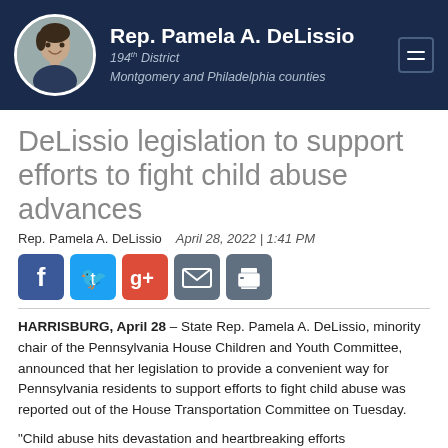Rep. Pamela A. DeLissio — 194th District — Montgomery and Philadelphia counties
DeLissio legislation to support efforts to fight child abuse advances
Rep. Pamela A. DeLissio   April 28, 2022 | 1:41 PM
[Figure (infographic): Social sharing icons: Facebook, Twitter, Google+, Email, Print]
HARRISBURG, April 28 – State Rep. Pamela A. DeLissio, minority chair of the Pennsylvania House Children and Youth Committee, announced that her legislation to provide a convenient way for Pennsylvania residents to support efforts to fight child abuse was reported out of the House Transportation Committee on Tuesday.
"Child abuse hits devastation and heartbreaking efforts...